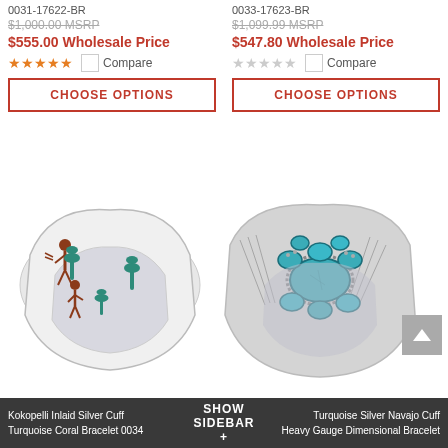0031-17622-BR
$1,000.00 MSRP
$555.00 Wholesale Price
Compare
CHOOSE OPTIONS
0033-17623-BR
$1,099.99 MSRP
$547.80 Wholesale Price
Compare
CHOOSE OPTIONS
[Figure (photo): Kokopelli Inlaid Silver Cuff Turquoise Coral Bracelet 0034 - silver cuff bracelet with turquoise and coral inlaid Kokopelli figures]
[Figure (photo): Turquoise Silver Navajo Cuff Heavy Gauge Dimensional Bracelet - silver cuff bracelet with large turquoise cluster stones]
Kokopelli Inlaid Silver Cuff Turquoise Coral Bracelet 0034   SHOW SIDEBAR +   Turquoise Silver Navajo Cuff Heavy Gauge Dimensional Bracelet